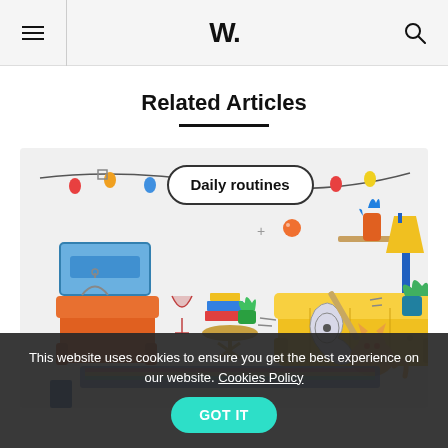W.
Related Articles
[Figure (illustration): Colorful illustration of a living room scene with the label 'Daily routines'. Features an orange armchair, yellow sofa with a guitar, a cat, a floor lamp, plants, fairy lights, and various home decor items.]
This website uses cookies to ensure you get the best experience on our website. Cookies Policy GOT IT